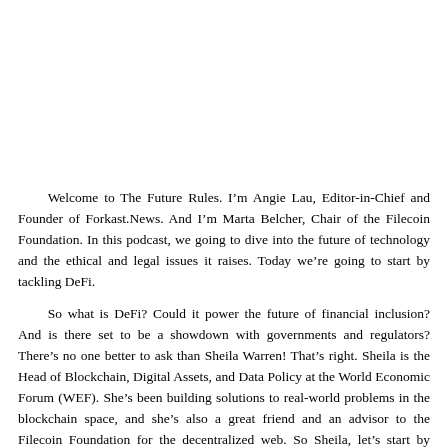Welcome to The Future Rules. I'm Angie Lau, Editor-in-Chief and Founder of Forkast.News. And I'm Marta Belcher, Chair of the Filecoin Foundation. In this podcast, we going to dive into the future of technology and the ethical and legal issues it raises. Today we're going to start by tackling DeFi.
So what is DeFi? Could it power the future of financial inclusion? And is there set to be a showdown with governments and regulators? There's no one better to ask than Sheila Warren! That's right. Sheila is the Head of Blockchain, Digital Assets, and Data Policy at the World Economic Forum (WEF). She's been building solutions to real-world problems in the blockchain space, and she's also a great friend and an advisor to the Filecoin Foundation for the decentralized web. So Sheila, let's start by explaining what DeFi is… Thanks so much for having me and Angie and Marta. I am thrilled to be here and help you
all kick this off. What a fun time to talk about the future. So DeFi stands for Decentralized Finance. That's the De and the Fi. And it's really a general term for what I think is an evolving trend. So literally speaking, it's a category of